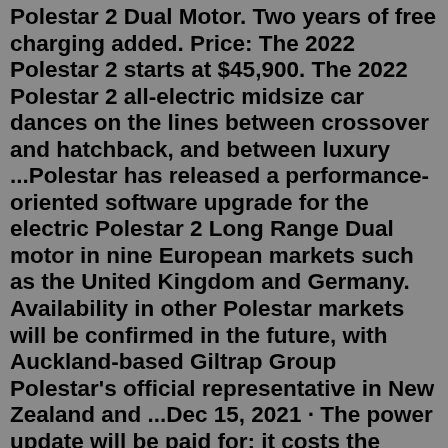Polestar 2 Dual Motor. Two years of free charging added. Price: The 2022 Polestar 2 starts at $45,900. The 2022 Polestar 2 all-electric midsize car dances on the lines between crossover and hatchback, and between luxury ...Polestar has released a performance-oriented software upgrade for the electric Polestar 2 Long Range Dual motor in nine European markets such as the United Kingdom and Germany. Availability in other Polestar markets will be confirmed in the future, with Auckland-based Giltrap Group Polestar's official representative in New Zealand and ...Dec 15, 2021 · The power update will be paid for; it costs the equivalent of ~ $1300 in Europe, so I expect it to be $1000-$1500 in the USA. 5134 posts | registered 3/13/2005 D.Becker Ars Tribunus Militum Dec 07, 2021 · The update, available through the Polestar Extras webshop, adds 67 horsepower and 15 pound-feet of torque for new peak power levels of 469 horse and 502 pound-feet. Most of this added power comes ... Polestar has released a performance-oriented software upgrade for